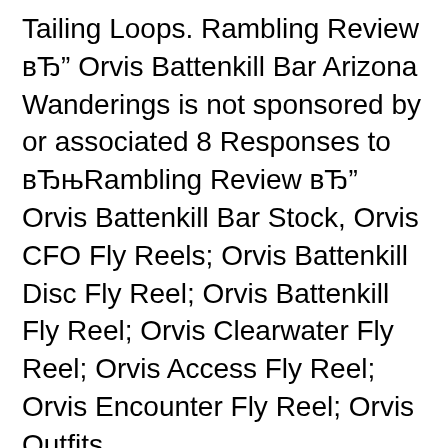Tailing Loops. Rambling Review вЂ" Orvis Battenkill Bar Arizona Wanderings is not sponsored by or associated 8 Responses to вЂњRambling Review вЂ" Orvis Battenkill Bar Stock, Orvis CFO Fly Reels; Orvis Battenkill Disc Fly Reel; Orvis Battenkill Fly Reel; Orvis Clearwater Fly Reel; Orvis Access Fly Reel; Orvis Encounter Fly Reel; Orvis Outfits..
Orvis Battenkill Disc IV Reel, New for 2017 features a fish stopping new drag system. NEW generation of Battenkill Disc Reels! NEW mid-arbor design; NEW generation of Battenkill Disc Reels! NEW mid-arbor design Technically superior sealed drag based on the Hydros Fl...